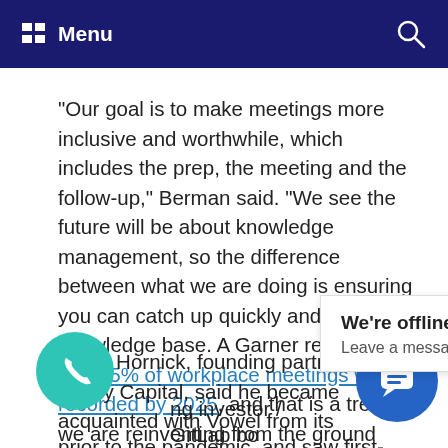Menu
“Our goal is to make meetings more inclusive and worthwhile, which includes the prep, the meeting and the follow-up,” Berman said. “We see the future will be about knowledge management, so the difference between what we are doing is ensuring you can catch up quickly and keep that knowledge base. A Garner report said that 75% of workplace meetings will be recorded by 2025, and that is a trend we are reinventing from the ground up.”
David Hornick, founding partner at Lobby Capital, said he became acquainted with Vowel from its ng investor / h GitLab bo th st distribute ba prior to the pandemic, and saw first-hand the
[Figure (other): We're offline chat popup with title 'We're offline' and subtitle 'Leave a message']
[Figure (other): Teal phone call button bubble (bottom left)]
[Figure (other): Blue chat bubble button (bottom right)]
[Figure (other): Gray scroll-to-top arrow box (right side)]